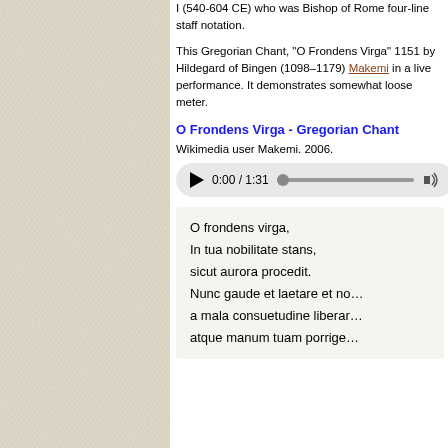I (540-604 CE) who was Bishop of Rome four-line staff notation.
This Gregorian Chant, "O Frondens Virga" 1151 by Hildegard of Bingen (1098–1179) Makemi in a live performance. It demonstrates somewhat loose meter.
O Frondens Virga - Gregorian Chant
Wikimedia user Makemi. 2006.
[Figure (other): Audio player showing 0:00 / 1:31 with play button, progress bar, and volume icon]
O frondens virga,
In tua nobilitate stans,
sicut aurora procedit.
Nunc gaude et laetare et no...
a mala consuetudine liberar...
atque manum tuam porrige...